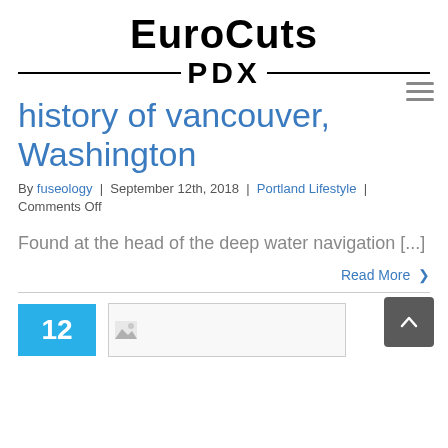[Figure (logo): EuroCuts PDX logo with horizontal lines on either side of PDX text]
history of vancouver, Washington
By fuseology | September 12th, 2018 | Portland Lifestyle | Comments Off
Found at the head of the deep water navigation [...]
Read More >
[Figure (other): Date box showing 12 in blue, and a thumbnail image placeholder]